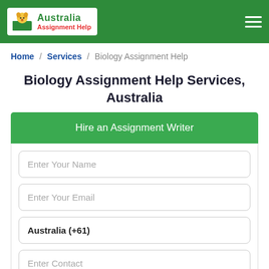[Figure (logo): Australia Assignment Help logo with green header bar and hamburger menu]
Home / Services / Biology Assignment Help
Biology Assignment Help Services, Australia
Hire an Assignment Writer
Enter Your Name
Enter Your Email
Australia (+61)
Enter Contact